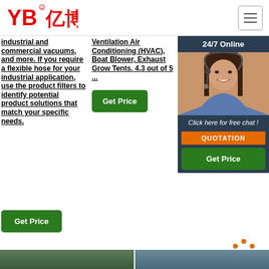[Figure (logo): YB亿博 logo in red with registered trademark symbol]
industrial and commercial vacuums, and more. If you require a flexible hose for your industrial application, use the product filters to identify potential product solutions that match your specific needs.
Ventilation Air Conditioning (HVAC), Boat Blower, Exhaust Grow Tents. 4.3 out of 5 ...
handle the highest tem... our foo... and has abr... cru... Use app... 450...
[Figure (photo): 24/7 Online chat widget with woman in headset, click here for free chat, QUOTATION button, Get Price button]
Get Price
Get Price
Get Price